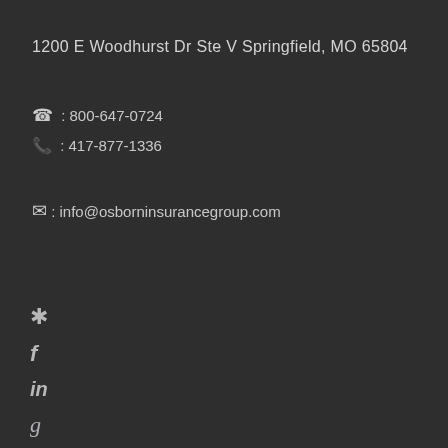1200 E Woodhurst Dr Ste V Springfield, MO 65804
☎ : 800-647-0724
📺: 417-877-1336
✉: info@osborninsurancegroup.com
[Figure (illustration): Social media icons: Yelp, Facebook, LinkedIn, Google]
Yelp icon
Facebook icon (f)
LinkedIn icon (in)
Google icon (g)